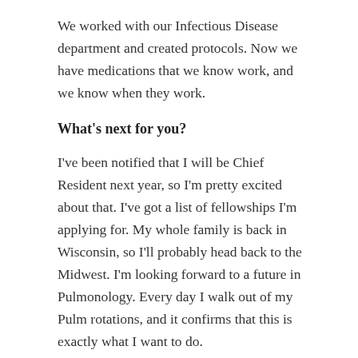We worked with our Infectious Disease department and created protocols. Now we have medications that we know work, and we know when they work.
What's next for you?
I've been notified that I will be Chief Resident next year, so I'm pretty excited about that. I've got a list of fellowships I'm applying for. My whole family is back in Wisconsin, so I'll probably head back to the Midwest. I'm looking forward to a future in Pulmonology. Every day I walk out of my Pulm rotations, and it confirms that this is exactly what I want to do.
If you could give advice to someone starting their residency, what would you say?
No matter where you go, you'll have a lot of opportunity